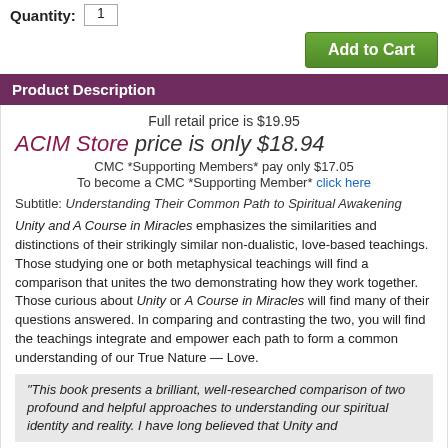Quantity: 1
Add to Cart
Product Description
Full retail price is $19.95
ACIM Store price is only $18.94
CMC *Supporting Members* pay only $17.05
To become a CMC *Supporting Member* click here
Subtitle: Understanding Their Common Path to Spiritual Awakening
Unity and A Course in Miracles emphasizes the similarities and distinctions of their strikingly similar non-dualistic, love-based teachings. Those studying one or both metaphysical teachings will find a comparison that unites the two demonstrating how they work together. Those curious about Unity or A Course in Miracles will find many of their questions answered. In comparing and contrasting the two, you will find the teachings integrate and empower each path to form a common understanding of our True Nature — Love.
"This book presents a brilliant, well-researched comparison of two profound and helpful approaches to understanding our spiritual identity and reality. I have long believed that Unity and